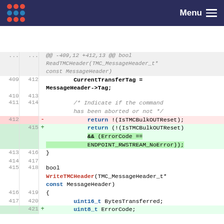Menu
[Figure (screenshot): Code diff view showing changes to ReadTMCHeader and WriteTMCHeader functions. Removed line 412: return !(IsTMCBulkOUTReset); Added lines 415-?: return (!(IsTMCBulkOUTReset) && (ErrorCode == ENDPOINT_RWSTREAM_NoError)); Also added line 421: uint8_t ErrorCode;]